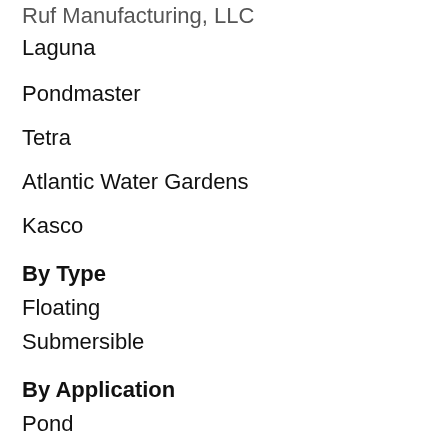Ruf Manufacturing, LLC
Laguna
Pondmaster
Tetra
Atlantic Water Gardens
Kasco
By Type
Floating
Submersible
By Application
Pond
Water Garden
Fountain
Others
By Regions/Countries:
North America